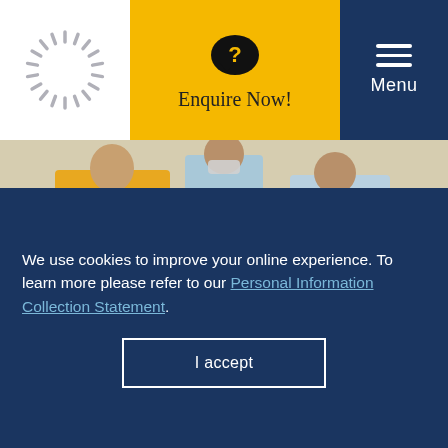[Figure (logo): St Andrews school sunburst logo]
Enquire Now!
Menu
[Figure (photo): Three students holding books while sitting on yellow chairs, one wearing a face mask]
Reading for pleasure is on the rise among language learners at St Andrews Bangkok
15 JUNE 2022
Since 2020, the French Bookflix Club (ECA), designed and
We use cookies to improve your online experience. To learn more please refer to our Personal Information Collection Statement.
I accept